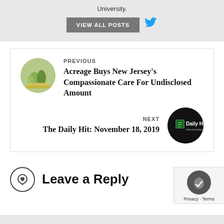University.
VIEW ALL POSTS
PREVIOUS
Acreage Buys New Jersey's Compassionate Care For Undisclosed Amount
NEXT
The Daily Hit: November 18, 2019
Leave a Reply